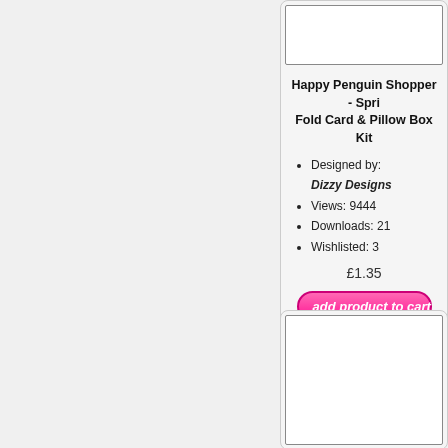[Figure (other): Product image placeholder (white box with border) for Happy Penguin Shopper item]
Happy Penguin Shopper - Spri Fold Card & Pillow Box Kit
Designed by: Dizzy Designs
Views: 9444
Downloads: 21
Wishlisted: 3
£1.35
add product to cart
[Figure (other): Second product image placeholder (white box with border)]